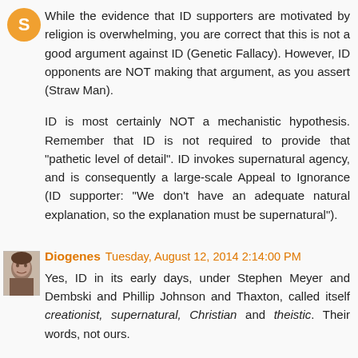[Figure (illustration): Orange circular avatar icon (first commenter)]
While the evidence that ID supporters are motivated by religion is overwhelming, you are correct that this is not a good argument against ID (Genetic Fallacy). However, ID opponents are NOT making that argument, as you assert (Straw Man).

ID is most certainly NOT a mechanistic hypothesis. Remember that ID is not required to provide that "pathetic level of detail". ID invokes supernatural agency, and is consequently a large-scale Appeal to Ignorance (ID supporter: "We don't have an adequate natural explanation, so the explanation must be supernatural").
[Figure (photo): Small profile photo of Diogenes (man's face)]
Diogenes  Tuesday, August 12, 2014 2:14:00 PM
Yes, ID in its early days, under Stephen Meyer and Dembski and Phillip Johnson and Thaxton, called itself creationist, supernatural, Christian and theistic. Their words, not ours.